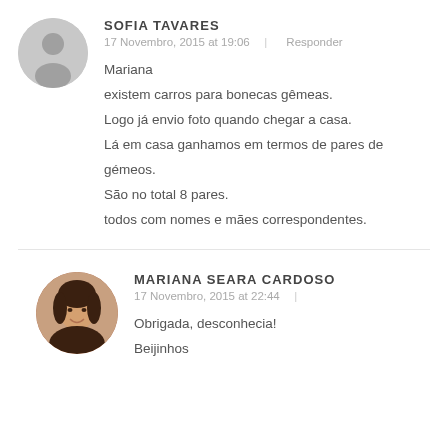[Figure (illustration): Gray circular avatar placeholder with silhouette icon for Sofia Tavares]
SOFIA TAVARES
17 Novembro, 2015 at 19:06  |  Responder
Mariana
existem carros para bonecas gêmeas.
Logo já envio foto quando chegar a casa.
Lá em casa ganhamos em termos de pares de gémeos.
São no total 8 pares.
todos com nomes e mães correspondentes.
[Figure (photo): Photo of Mariana Seara Cardoso, a woman with dark hair, smiling, in a circular frame]
MARIANA SEARA CARDOSO
17 Novembro, 2015 at 22:44  |
Obrigada, desconhecia!
Bejinhos